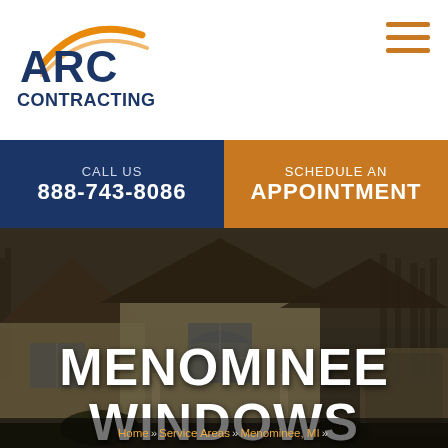[Figure (logo): ARC Contracting logo with orange arc swoosh above dark blue text]
[Figure (other): Hamburger menu icon with three orange horizontal lines]
CALL US
888-743-8086
SCHEDULE AN APPOINTMENT
[Figure (photo): Suburban two-story house with peaked roofs, arch window, and attached garage, dimmed dark overlay]
MENOMINEE WINDOWS
Home » Service Areas » Menominee, MI »